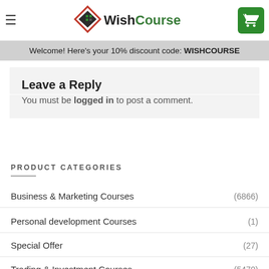WishCourse — navigation bar with hamburger menu and cart button
Welcome! Here's your 10% discount code: WISHCOURSE
Leave a Reply
You must be logged in to post a comment.
PRODUCT CATEGORIES
Business & Marketing Courses (6866)
Personal development Courses (1)
Special Offer (27)
Trading & Investment Courses (5470)